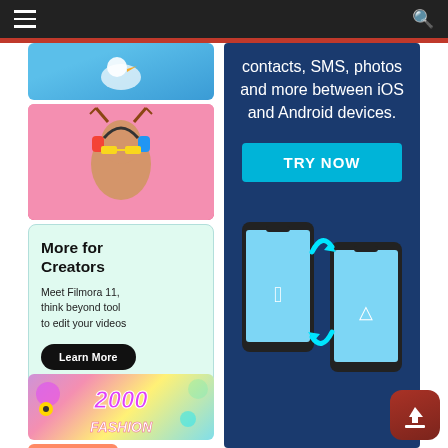Navigation bar with hamburger menu and search icon
[Figure (illustration): Blue background image with bird graphic - top of left ad column]
[Figure (photo): Pink background photo of woman with antler headband, colorful sunglasses and headphones]
More for Creators
Meet Filmora 11, think beyond tool to edit your videos
Learn More
[Figure (illustration): Colorful 2000s fashion pack advertisement with retro text]
[Figure (illustration): Bottom row: emoji heart-eyes sticker (orange) and colorful hands sticker (yellow)]
contacts, SMS, photos and more between iOS and Android devices.
TRY NOW
[Figure (illustration): Two smartphones (iPhone and Android) with arrow showing data transfer between iOS and Android devices, on dark blue background]